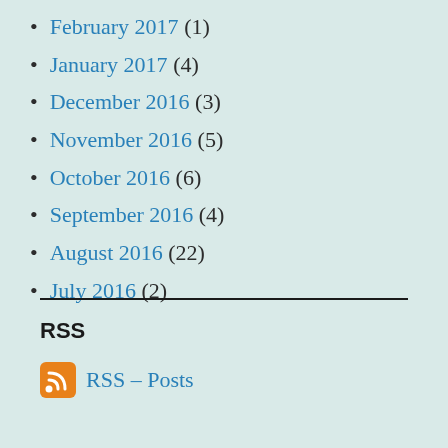February 2017 (1)
January 2017 (4)
December 2016 (3)
November 2016 (5)
October 2016 (6)
September 2016 (4)
August 2016 (22)
July 2016 (2)
RSS
RSS – Posts